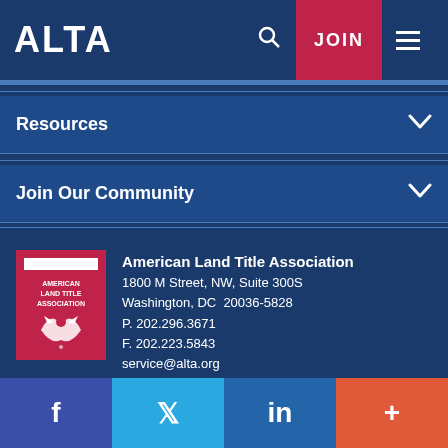ALTA | JOIN
Resources
Join Our Community
American Land Title Association
1800 M Street, NW, Suite 300S
Washington, DC  20036-5828
P. 202.296.3671
F. 202.223.5843
service@alta.org
Copyright © 2004-2022 American Land Title Association. All rights reserved.
f | Twitter | in | +